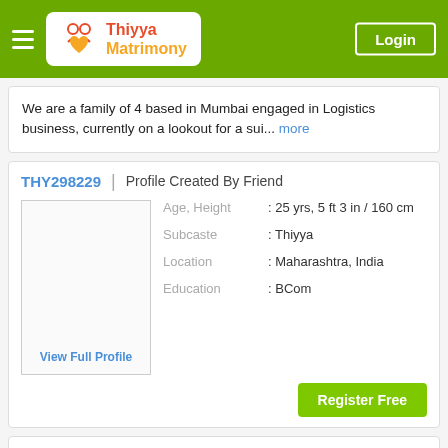Thiyya Matrimony | Login
We are a family of 4 based in Mumbai engaged in Logistics business, currently on a lookout for a sui... more
THY298229 | Profile Created By Friend
[Figure (other): Profile photo placeholder with View Full Profile link]
Age, Height : 25 yrs, 5 ft 3 in / 160 cm
Subcaste : Thiyya
Location : Maharashtra, India
Education : BCom
Register Free
My name is Priya Pradeep and I have completed my B.Com.. I belong to a Middle Class, Nuclear Family.
THY286885 | Profile Created By Parents
Age, Height : 25 yrs, 5 ft 4 in / 162 cm